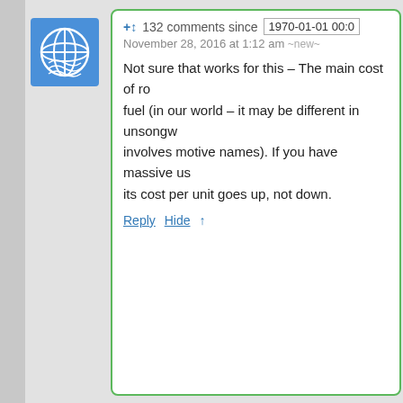132 comments since 1970-01-01 00:0
November 28, 2016 at 1:12 am ~new~
Not sure that works for this – The main cost of ro fuel (in our world – it may be different in unsongw involves motive names). If you have massive us its cost per unit goes up, not down.
Reply Hide ↑
Gazeboist says:
November 28, 2016 at 2:06 am ~new~
Also, economies of scale for (actual) r obtained by increasing the distance flo the gravity well, not by increasing the that time (which is quite costly). You w a bunch of cheap things into orbit and together for a long flight, which doesn here.